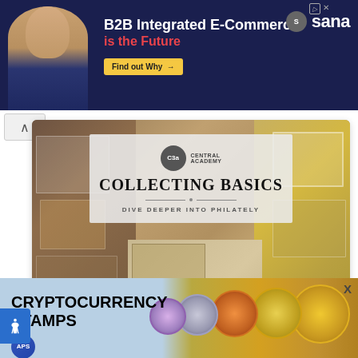[Figure (illustration): Advertisement banner for Sana B2B Integrated E-Commerce with man smiling on dark navy background. Text: B2B Integrated E-Commerce is the Future. Find out Why button. Sana logo top right.]
[Figure (photo): Collecting Basics stamp collection course card showing colorful vintage postage stamps collage with overlay text COLLECTING BASICS - DIVE DEEPER INTO PHILATELY with C3a Central Academy logo]
C3a Stamp Basics Highlight - Part 2
[Figure (photo): Competition Before the Monopoly article card with handwritten letter background. Text: Competition Before the Monopoly - How private mail]
[Figure (illustration): Cryptocurrency Stamps advertisement banner with blue background, showing gold coins including Bitcoin, Litecoin, Dogecoin, and other crypto coins on right side.]